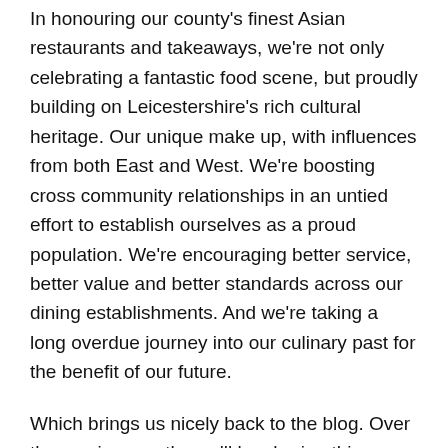In honouring our county's finest Asian restaurants and takeaways, we're not only celebrating a fantastic food scene, but proudly building on Leicestershire's rich cultural heritage. Our unique make up, with influences from both East and West. We're boosting cross community relationships in an untied effort to establish ourselves as a proud population. We're encouraging better service, better value and better standards across our dining establishments. And we're taking a long overdue journey into our culinary past for the benefit of our future.
Which brings us nicely back to the blog. Over the coming months we'll be sharing this journey with you, posting everything from features charting the history of Leicestershire's rise to multicultural unity, to foodie facts and mouth-watering interviews. We'll be bringing you some great content as part of our Leicester Curry Talks segment and indulging in some late night takeaways behind the scenes. For us, the Leicester Curry Awards aren't just about the final results; they're about the journey taken to find them. And we're inviting you all along